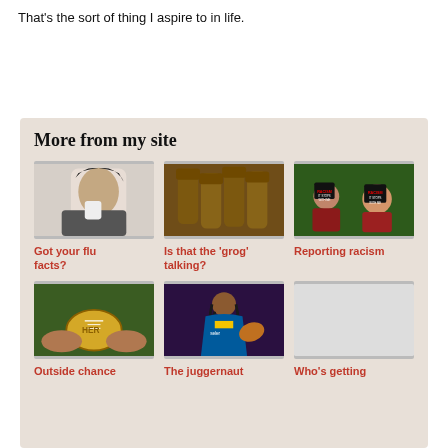That's the sort of thing I aspire to in life.
More from my site
[Figure (photo): Woman blowing her nose with tissue]
Got your flu facts?
[Figure (photo): Brown glass beer bottles close-up]
Is that the 'grog' talking?
[Figure (photo): Children holding Racism It Stops With Me signs]
Reporting racism
[Figure (photo): Hands holding an Australian rules football]
Outside chance
[Figure (photo): Rugby league player running with ball]
The juggernaut
[Figure (photo): Blank/empty image placeholder]
Who's getting